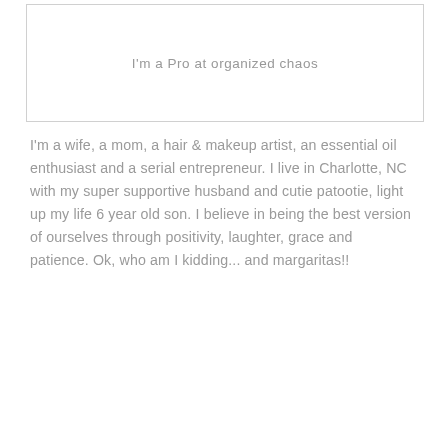I'm a Pro at organized chaos
I'm a wife, a mom, a hair & makeup artist, an essential oil enthusiast and a serial entrepreneur. I live in Charlotte, NC with my super supportive husband and cutie patootie, light up my life 6 year old son. I believe in being the best version of ourselves through positivity, laughter, grace and patience. Ok, who am I kidding... and margaritas!!